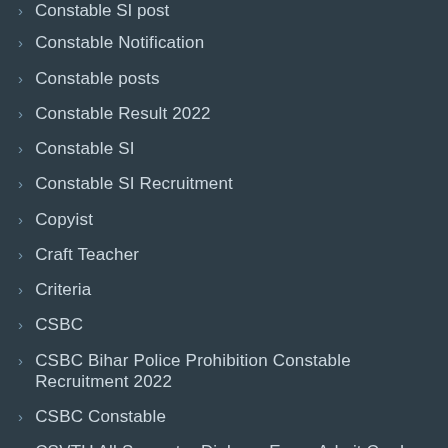Constable Notification
Constable posts
Constable Result 2022
Constable SI
Constable SI Recruitment
Copyist
Craft Teacher
Criteria
CSBC
CSBC Bihar Police Prohibition Constable Recruitment 2022
CSBC Constable
CSVTU All Semester Diploma Exam Admit Card